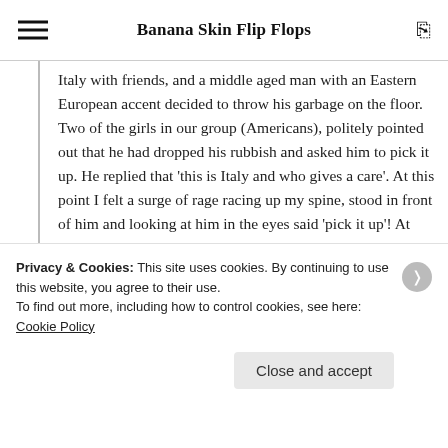Banana Skin Flip Flops
Italy with friends, and a middle aged man with an Eastern European accent decided to throw his garbage on the floor. Two of the girls in our group (Americans), politely pointed out that he had dropped his rubbish and asked him to pick it up. He replied that 'this is Italy and who gives a care'. At this point I felt a surge of rage racing up my spine, stood in front of him and looking at him in the eyes said 'pick it up'! At that point, that a-
Privacy & Cookies: This site uses cookies. By continuing to use this website, you agree to their use.
To find out more, including how to control cookies, see here: Cookie Policy
Close and accept